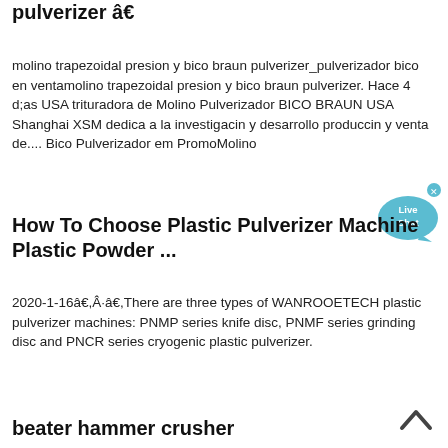pulverizer â€
molino trapezoidal presion y bico braun pulverizer_pulverizador bico en ventamolino trapezoidal presion y bico braun pulverizer. Hace 4 d;as USA trituradora de Molino Pulverizador BICO BRAUN USA Shanghai XSM dedica a la investigacin y desarrollo produccin y venta de.... Bico Pulverizador em PromoMolino
[Figure (other): Live Chat bubble icon in teal/blue color with 'Live Chat' text and an X close button]
How To Choose Plastic Pulverizer Machine Plastic Powder ...
2020-1-16â€,Â·â€,There are three types of WANROOETECH plastic pulverizer machines: PNMP series knife disc, PNMF series grinding disc and PNCR series cryogenic plastic pulverizer.
beater hammer crusher
[Figure (other): Back to top arrow chevron icon, dark gray, pointing upward]